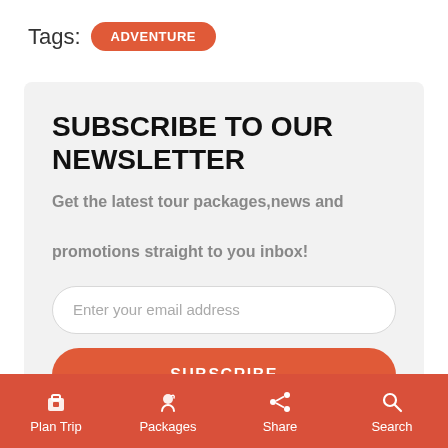Tags: ADVENTURE
SUBSCRIBE TO OUR NEWSLETTER
Get the latest tour packages,news and promotions straight to you inbox!
Enter your email address
SUBSCRIBE
Plan Trip | Packages | Share | Search